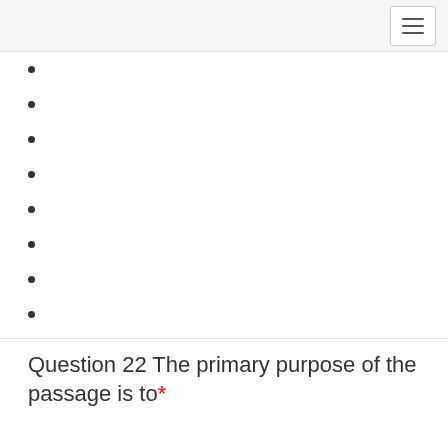Question 22 The primary purpose of the passage is to*